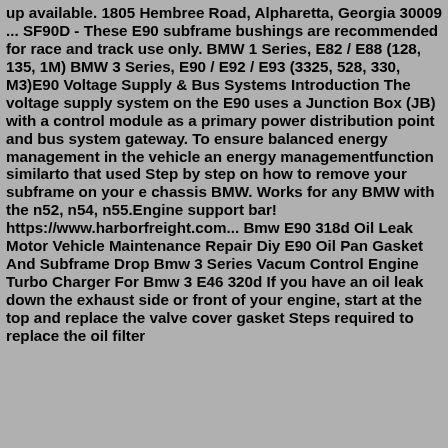up available. 1805 Hembree Road, Alpharetta, Georgia 30009 ... SF90D - These E90 subframe bushings are recommended for race and track use only. BMW 1 Series, E82 / E88 (128, 135, 1M) BMW 3 Series, E90 / E92 / E93 (3325, 528, 330, M3)E90 Voltage Supply & Bus Systems Introduction The voltage supply system on the E90 uses a Junction Box (JB) with a control module as a primary power distribution point and bus system gateway. To ensure balanced energy management in the vehicle an energy managementfunction similarto that used Step by step on how to remove your subframe on your e chassis BMW. Works for any BMW with the n52, n54, n55.Engine support bar! https://www.harborfreight.com... Bmw E90 318d Oil Leak Motor Vehicle Maintenance Repair Diy E90 Oil Pan Gasket And Subframe Drop Bmw 3 Series Vacum Control Engine Turbo Charger For Bmw 3 E46 320d If you have an oil leak down the exhaust side or front of your engine, start at the top and replace the valve cover gasket Steps required to replace the oil filter